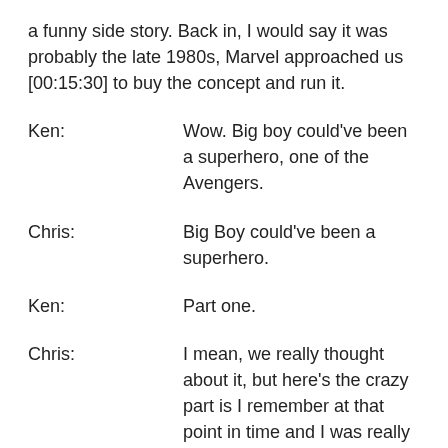a funny side story. Back in, I would say it was probably the late 1980s, Marvel approached us [00:15:30] to buy the concept and run it.
Ken: Wow. Big boy could've been a superhero, one of the Avengers.
Chris: Big Boy could've been a superhero.
Ken: Part one.
Chris: I mean, we really thought about it, but here's the crazy part is I remember at that point in time and I was really new to working in the company full time, Stan Lee himself was out there. I'll never forget that. But back then, nobody